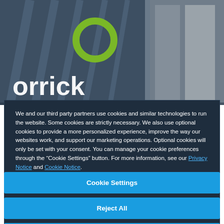[Figure (photo): Orrick law firm website screenshot showing architectural background with the Orrick logo (green circle O above lowercase orrick text) and a cookie consent modal overlay]
We and our third party partners use cookies and similar technologies to run the website. Some cookies are strictly necessary. We also use optional cookies to provide a more personalized experience, improve the way our websites work, and support our marketing operations. Optional cookies will only be set with your consent. You can manage your cookie preferences through the “Cookie Settings” button. For more information, see our Privacy Notice and Cookie Notice.
Cookie Settings
Reject All
Accept All